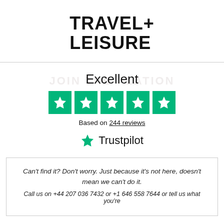[Figure (logo): Travel+Leisure magazine logo in bold black text]
[Figure (infographic): Trustpilot rating widget showing Excellent rating with 5 green stars and 'Based on 244 reviews' text, with Trustpilot logo]
Can't find it? Don't worry. Just because it's not here, doesn't mean we can't do it.
Call us on +44 207 036 7432 or +1 646 558 7644 or tell us what you're looking for below.